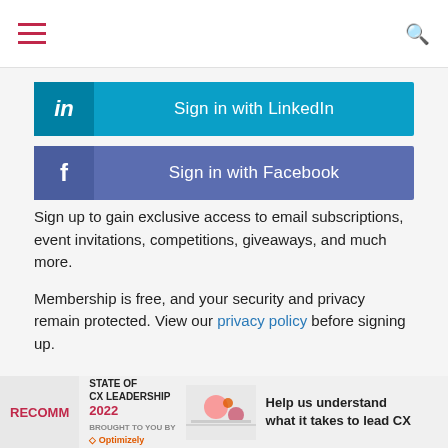Navigation bar with hamburger menu and search icon
[Figure (other): Sign in with LinkedIn button - cyan/blue button with LinkedIn 'in' logo icon on left]
[Figure (other): Sign in with Facebook button - blue/purple button with Facebook 'f' logo icon on left]
Sign up to gain exclusive access to email subscriptions, event invitations, competitions, giveaways, and much more.
Membership is free, and your security and privacy remain protected. View our privacy policy before signing up.
Tags: digital marketing   ecommerce   Watson   data-driven marketing
[Figure (infographic): State of CX Leadership 2022 advertisement banner - Help us understand what it takes to lead CX, brought to you by Optimizely]